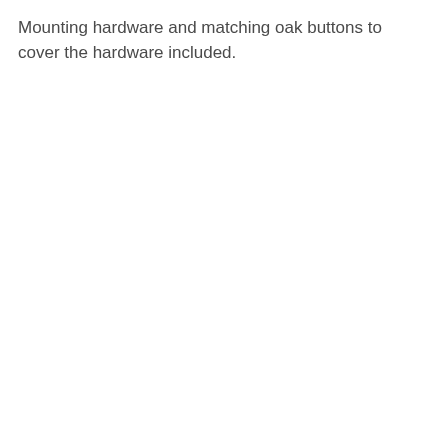Mounting hardware and matching oak buttons to cover the hardware included.